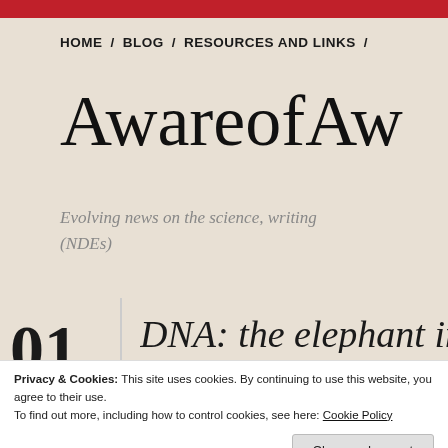HOME / BLOG / RESOURCES AND LINKS /
AwareofAw
Evolving news on the science, writing (NDEs)
01
DNA: the elephant in
Privacy & Cookies: This site uses cookies. By continuing to use this website, you agree to their use.
To find out more, including how to control cookies, see here: Cookie Policy
Close and accept